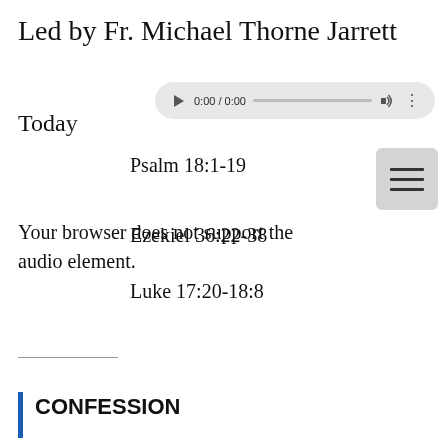Led by Fr. Michael Thorne Jarrett
Today's readings:
[Figure (screenshot): Audio player widget showing 0:00 / 0:00 with play button, progress bar, volume icon, and menu icon]
Psalm 18:1-19
Ezekiel 36:22-38
Luke 17:20-18:8
Your browser does not support the audio element.
CONFESSION